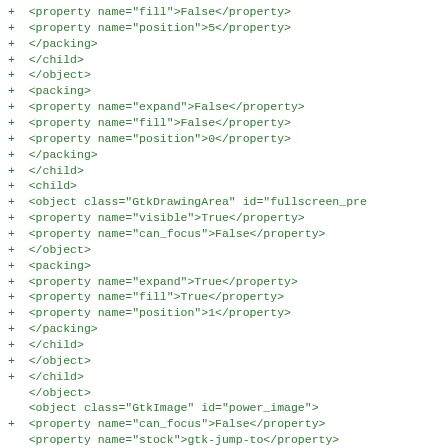Diff code showing XML property additions and one removal in a GTK UI definition file